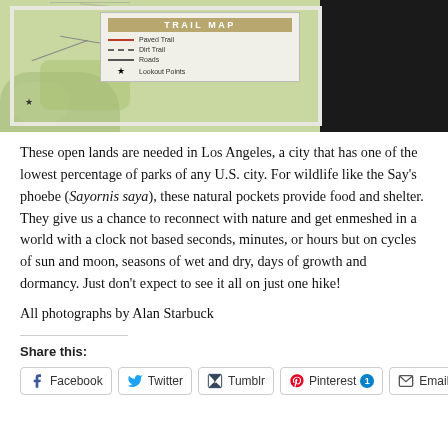[Figure (photo): Photograph of a trail map sign board mounted outdoors. The map shows green terrain with trail markings. A legend box on the map shows: Paved Trail (solid red line), Dirt Trail (dashed line), Roads (solid line), Lookout Points (star). The right portion of the image is dark/shadowed.]
These open lands are needed in Los Angeles, a city that has one of the lowest percentage of parks of any U.S. city. For wildlife like the Say's phoebe (Sayornis saya), these natural pockets provide food and shelter. They give us a chance to reconnect with nature and get enmeshed in a world with a clock not based seconds, minutes, or hours but on cycles of sun and moon, seasons of wet and dry, days of growth and dormancy. Just don't expect to see it all on just one hike!
All photographs by Alan Starbuck
Share this:
Facebook  Twitter  Tumblr  Pinterest 1  Email